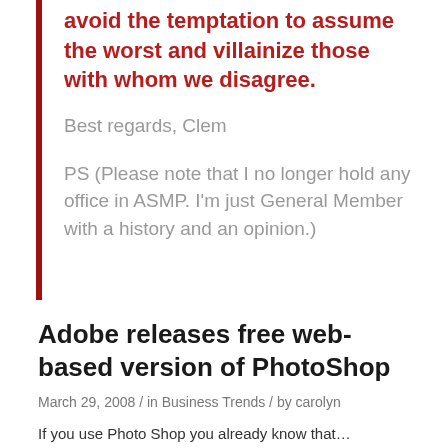avoid the temptation to assume the worst and villainize those with whom we disagree.
Best regards, Clem
PS (Please note that I no longer hold any office in ASMP. I'm just General Member with a history and an opinion.)
Adobe releases free web-based version of PhotoShop
March 29, 2008 / in Business Trends / by carolyn
If you use Photo Shop you already know that...